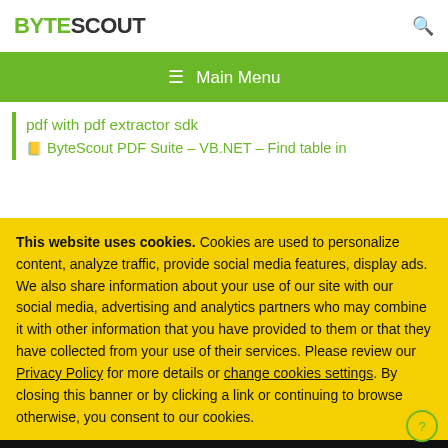BYTESCOUT
≡  Main Menu
pdf with pdf extractor sdk
🔖 ByteScout PDF Suite – VB.NET – Find table in
This website uses cookies. Cookies are used to personalize content, analyze traffic, provide social media features, display ads. We also share information about your use of our site with our social media, advertising and analytics partners who may combine it with other information that you have provided to them or that they have collected from your use of their services. Please review our Privacy Policy for more details or change cookies settings. By closing this banner or by clicking a link or continuing to browse otherwise, you consent to our cookies.
OK